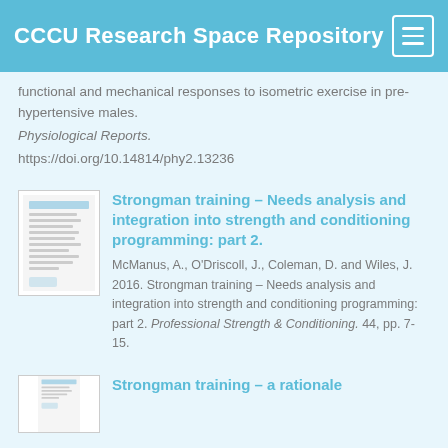CCCU Research Space Repository
functional and mechanical responses to isometric exercise in pre-hypertensive males. Physiological Reports. https://doi.org/10.14814/phy2.13236
[Figure (other): Thumbnail of document cover page]
Strongman training – Needs analysis and integration into strength and conditioning programming: part 2.
McManus, A., O'Driscoll, J., Coleman, D. and Wiles, J. 2016. Strongman training – Needs analysis and integration into strength and conditioning programming: part 2. Professional Strength & Conditioning. 44, pp. 7-15.
[Figure (other): Thumbnail of document cover page]
Strongman training – a rationale